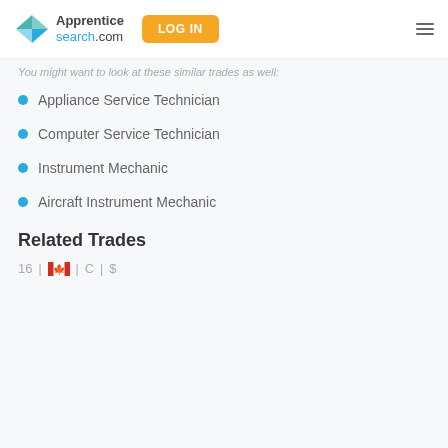[Figure (logo): ApprenticeSearch.com logo with arrow icon and LOG IN button and hamburger menu]
You might want to look at these similar trades as well:
Appliance Service Technician
Computer Service Technician
Instrument Mechanic
Aircraft Instrument Mechanic
Related Trades
16 | 🇨🇦 | C | $